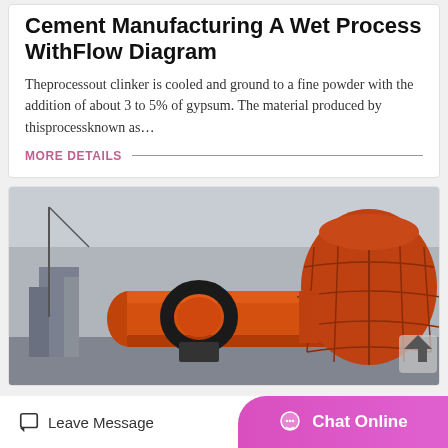Cement Manufacturing A Wet Process WithFlow Diagram
Theprocessout clinker is cooled and ground to a fine powder with the addition of about 3 to 5% of gypsum. The material produced by thisprocessknown as…
MORE DETAILS
[Figure (photo): Industrial rotary kiln / cement manufacturing equipment — a large orange cylindrical drum with black gear ring, viewed from the side, with industrial buildings in the background]
Leave Message | Chat Online